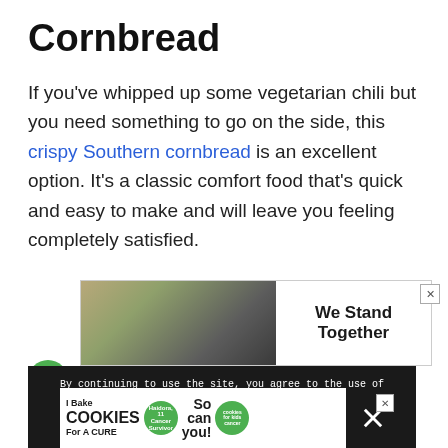Cornbread
If you've whipped up some vegetarian chili but you need something to go on the side, this crispy Southern cornbread is an excellent option. It's a classic comfort food that's quick and easy to make and will leave you feeling completely satisfied.
[Figure (infographic): Advertisement banner showing group of people from behind with arms around each other, with text 'We Stand Together']
[Figure (infographic): Cookie consent bar with text: By continuing to use the site, you agree to the use of cookies. more information. ACCEPT button.]
[Figure (infographic): Bottom advertisement: I Bake COOKIES For A CURE, Haidora, 11 Cancer Survivor, So can you!, cookies for kids cancer]